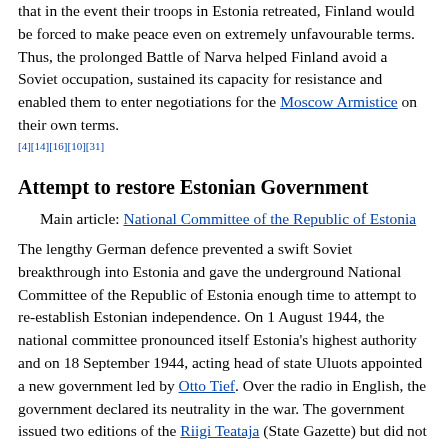that in the event their troops in Estonia retreated, Finland would be forced to make peace even on extremely unfavourable terms. Thus, the prolonged Battle of Narva helped Finland avoid a Soviet occupation, sustained its capacity for resistance and enabled them to enter negotiations for the Moscow Armistice on their own terms. [4][14][16][10][31]
Attempt to restore Estonian Government
Main article: National Committee of the Republic of Estonia
The lengthy German defence prevented a swift Soviet breakthrough into Estonia and gave the underground National Committee of the Republic of Estonia enough time to attempt to re-establish Estonian independence. On 1 August 1944, the national committee pronounced itself Estonia's highest authority and on 18 September 1944, acting head of state Uluots appointed a new government led by Otto Tief. Over the radio in English, the government declared its neutrality in the war. The government issued two editions of the Riigi Teataja (State Gazette) but did not have time to distribute them. On 21 September, the national forces seized the government buildings in Toompea, Tallinn and ordered the German forces to leave.[40][41] The flag of Estonia was hoisted at the tower of Pikk Hermann, to be removed by the Soviets four days later. The Estonian Government in Exile served to carry the